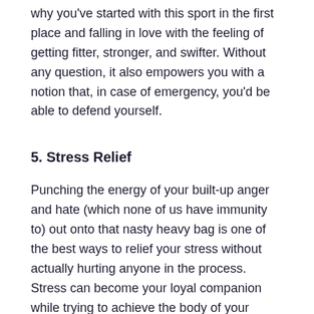why you've started with this sport in the first place and falling in love with the feeling of getting fitter, stronger, and swifter. Without any question, it also empowers you with a notion that, in case of emergency, you'd be able to defend yourself.
5. Stress Relief
Punching the energy of your built-up anger and hate (which none of us have immunity to) out onto that nasty heavy bag is one of the best ways to relief your stress without actually hurting anyone in the process. Stress can become your loyal companion while trying to achieve the body of your dreams and facing the slow-motion nature of such change. If you let those thoughts overwhelm you and the stress hormone cortisol levels get out of control, it can in fact prevent you from losing that unnecessary fat, so it's really not worth it. Hence boxing